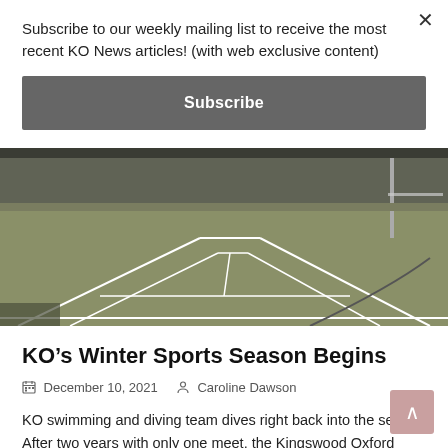Subscribe to our weekly mailing list to receive the most recent KO News articles! (with web exclusive content)
Subscribe
[Figure (photo): Indoor sports court (badminton/tennis) with green floor and white court lines, viewed from a low angle]
KO’s Winter Sports Season Begins
December 10, 2021   Caroline Dawson
KO swimming and diving team dives right back into the season After two years with only one meet, the Kingswood Oxford swimming and diving team looks to rebound with a strong set of tournaments and swim meets. The skiing and...